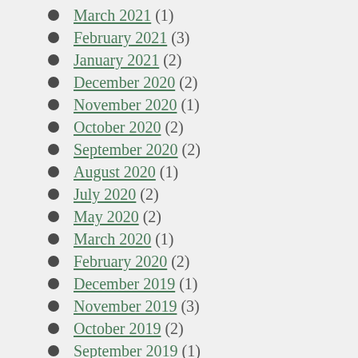March 2021 (1)
February 2021 (3)
January 2021 (2)
December 2020 (2)
November 2020 (1)
October 2020 (2)
September 2020 (2)
August 2020 (1)
July 2020 (2)
May 2020 (2)
March 2020 (1)
February 2020 (2)
December 2019 (1)
November 2019 (3)
October 2019 (2)
September 2019 (1)
August 2019 (1)